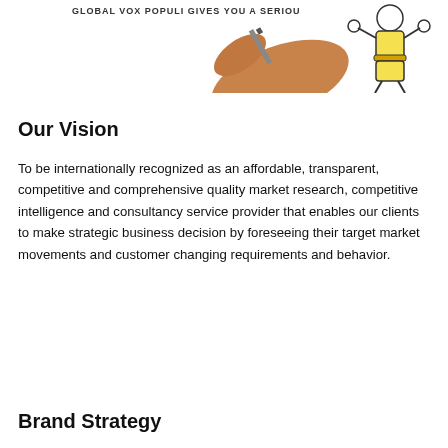[Figure (illustration): Partial illustration showing a hand writing with a marker and a cartoon muscular figure in yellow shorts, with text 'GLOBAL VOX POPULI GIVES YOU A SERIOU' visible at the top]
Our Vision
To be internationally recognized as an affordable, transparent, competitive and comprehensive quality market research, competitive intelligence and consultancy service provider that enables our clients to make strategic business decision by foreseeing their target market movements and customer changing requirements and behavior.
Brand Strategy